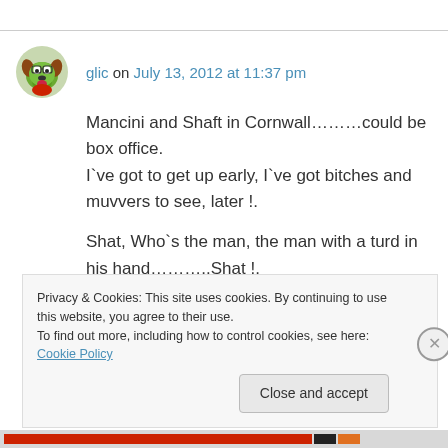glic on July 13, 2012 at 11:37 pm
Mancini and Shaft in Cornwall………could be box office.
I`ve got to get up early, I`ve got bitches and muvvers to see, later !.

Shat, Who`s the man, the man with a turd in his hand………..Shat !.
Privacy & Cookies: This site uses cookies. By continuing to use this website, you agree to their use.
To find out more, including how to control cookies, see here: Cookie Policy
Close and accept